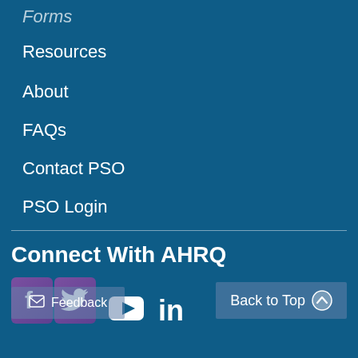Resources
About
FAQs
Contact PSO
PSO Login
Connect With AHRQ
[Figure (illustration): Social media icons: Facebook, Twitter, YouTube, LinkedIn. A 'Back to Top' button and a 'Feedback' overlay button are also shown.]